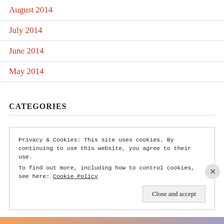August 2014
July 2014
June 2014
May 2014
CATEGORIES
Uncategorized
Privacy & Cookies: This site uses cookies. By continuing to use this website, you agree to their use.
To find out more, including how to control cookies, see here: Cookie Policy
Close and accept